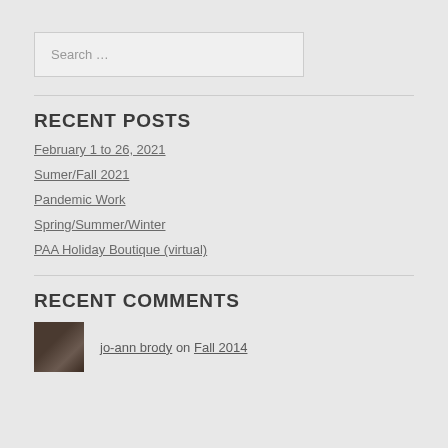Search …
RECENT POSTS
February 1 to 26, 2021
Sumer/Fall 2021
Pandemic Work
Spring/Summer/Winter
PAA Holiday Boutique (virtual)
RECENT COMMENTS
jo-ann brody on Fall 2014